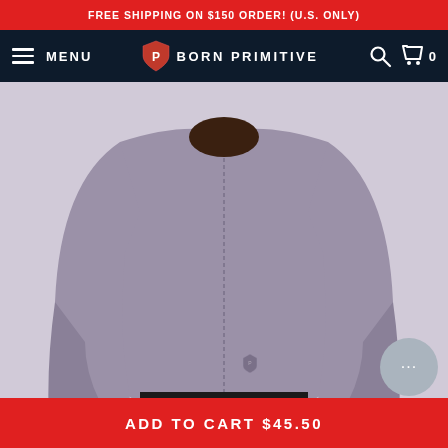FREE SHIPPING ON $150 ORDER! (U.S. ONLY)
MENU | BORN PRIMITIVE
[Figure (photo): Woman wearing a lavender/soft purple long-sleeve athletic quarter-zip crop top with black leggings, shown from torso down. Born Primitive logo visible on the shirt.]
3 options: Soft Lavender
[Figure (photo): Thumbnail of olive/green colored athletic zip-up jacket]
[Figure (photo): Thumbnail of soft lavender/purple athletic zip-up jacket (currently selected)]
[Figure (photo): Thumbnail of black athletic zip-up jacket with woman wearing hijab]
ADD TO CART $45.50